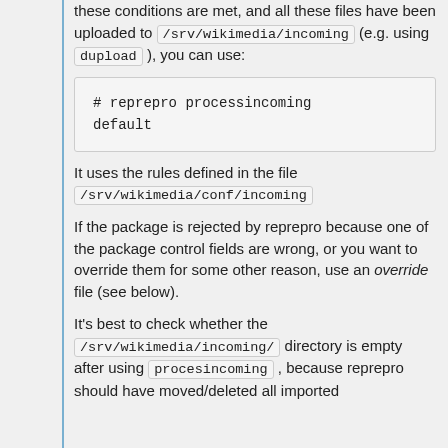these conditions are met, and all these files have been uploaded to /srv/wikimedia/incoming (e.g. using dupload ), you can use:
# reprepro processincoming default
It uses the rules defined in the file /srv/wikimedia/conf/incoming
If the package is rejected by reprepro because one of the package control fields are wrong, or you want to override them for some other reason, use an override file (see below).
It's best to check whether the /srv/wikimedia/incoming/ directory is empty after using procesincoming , because reprepro should have moved/deleted all imported